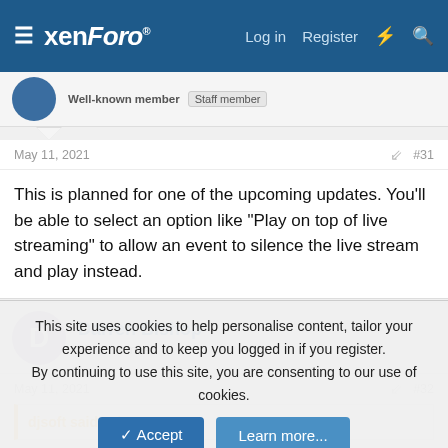xenForo — Log in  Register
Well-known member  Staff member
May 11, 2021  #31
This is planned for one of the upcoming updates. You'll be able to select an option like "Play on top of live streaming" to allow an event to silence the live stream and play instead.
Darren Bishop
New member
May 11, 2021  #32
djsoft said: ↑
This site uses cookies to help personalise content, tailor your experience and to keep you logged in if you register.
By continuing to use this site, you are consenting to our use of cookies.